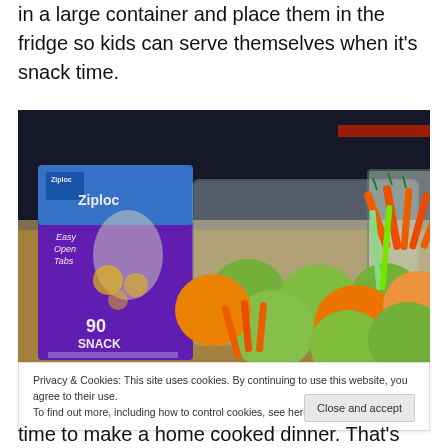in a large container and place them in the fridge so kids can serve themselves when it's snack time.
[Figure (photo): Photo of a Ziploc 90 Snack bags box next to a clear container filled with fruits and vegetables including green apples, oranges, and carrots in Ziploc bags, arranged on a wooden cutting board.]
Privacy & Cookies: This site uses cookies. By continuing to use this website, you agree to their use.
To find out more, including how to control cookies, see here: Cookie Policy
time to make a home cooked dinner. That's why I like